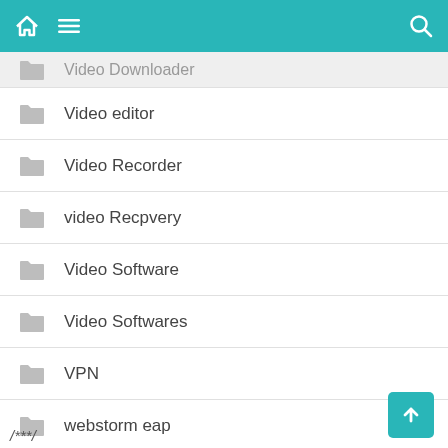home menu search
Video Downloader
Video editor
Video Recorder
video Recpvery
Video Software
Video Softwares
VPN
webstorm eap
WINDOWS
windows tools
/***/